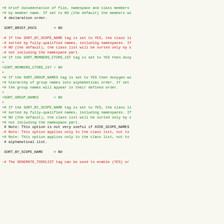Doxygen configuration file diff showing changes to sort-related settings
+# brief documentation of file, namespace and class members
+# by member name. If set to NO (the default) the members wi
 # declaration order.

 SORT_BRIEF_DOCS        = NO

-# If the SORT_BY_SCOPE_NAME tag is set to YES, the class li
-# sorted by fully-qualified names, including namespaces. If
-# NO (the default), the class list will be sorted only by c
-# not including the namespace part.
+# If the SORT_MEMBERS_CTORS_1ST tag is set to YES then doxy
+
+SORT_MEMBERS_CTORS_1ST = NO
+
+# If the SORT_GROUP_NAMES tag is set to YES then doxygen wi
+# hierarchy of group names into alphabetical order. If set
+# the group names will appear in their defined order.
+
+SORT_GROUP_NAMES       = NO
+
+# If the SORT_BY_SCOPE_NAME tag is set to YES, the class li
+# sorted by fully-qualified names, including namespaces. If
+# NO (the default), the class list will be sorted only by c
+# not including the namespace part.
 # Note: This option is not very useful if HIDE_SCOPE_NAMES
-# Note: This option applies only to the class list, not to
+# Note: This option applies only to the class list, not to
 # alphabetical list.

 SORT_BY_SCOPE_NAME     = NO

-# The GENERATE_TODOLIST tag can be used to enable (YES) or